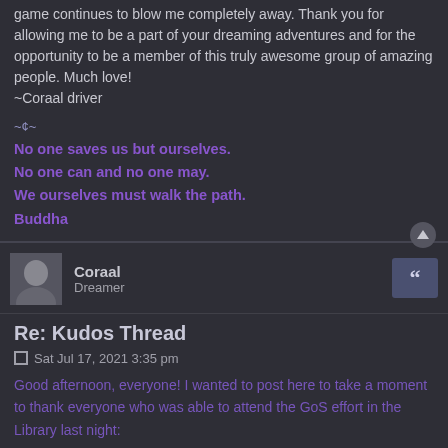game continues to blow me completely away. Thank you for allowing me to be a part of your dreaming adventures and for the opportunity to be a member of this truly awesome group of amazing people. Much love!
~Coraal driver
~¢~
No one saves us but ourselves.
No one can and no one may.
We ourselves must walk the path.
Buddha
Coraal
Dreamer
Re: Kudos Thread
Sat Jul 17, 2021 3:35 pm
Good afternoon, everyone! I wanted to post here to take a moment to thank everyone who was able to attend the GoS effort in the Library last night:
Drizzt
Sadara
Koriania
Mandus
Sadara